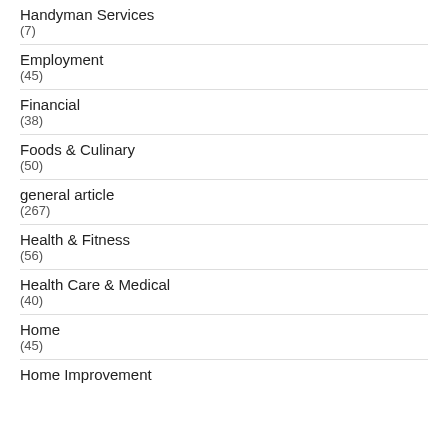Handyman Services
(7)
Employment
(45)
Financial
(38)
Foods & Culinary
(50)
general article
(267)
Health & Fitness
(56)
Health Care & Medical
(40)
Home
(45)
Home Improvement